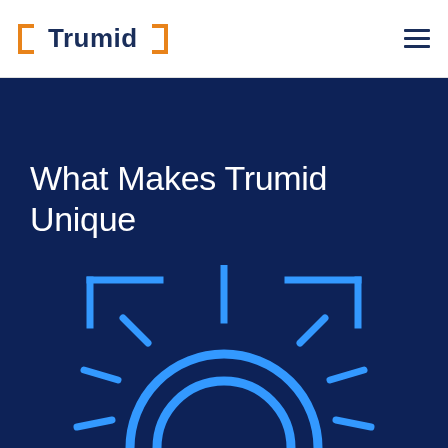Trumid
What Makes Trumid Unique
[Figure (illustration): Blue sun/gear icon with bracket corner decorations on dark navy background, partially visible at bottom of page]